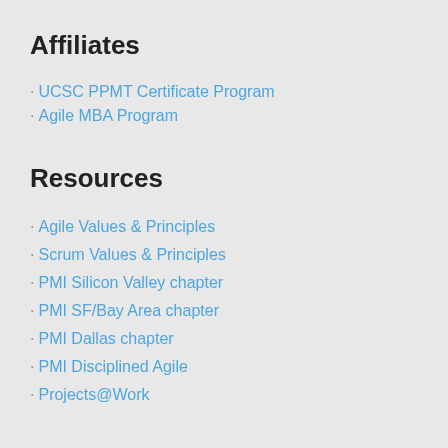Affiliates
UCSC PPMT Certificate Program
Agile MBA Program
Resources
Agile Values & Principles
Scrum Values & Principles
PMI Silicon Valley chapter
PMI SF/Bay Area chapter
PMI Dallas chapter
PMI Disciplined Agile
Projects@Work